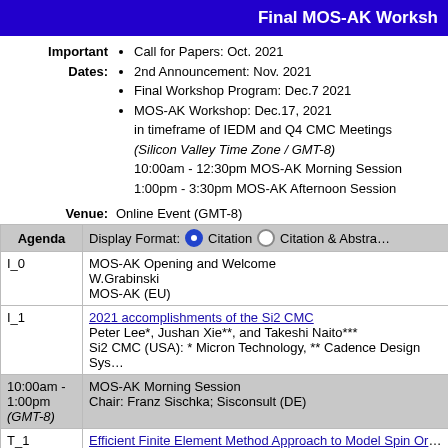Final MOS-AK Workshop
Important Dates:
- Call for Papers: Oct. 2021
- 2nd Announcement: Nov. 2021
- Final Workshop Program: Dec.7 2021
- MOS-AK Workshop: Dec.17, 2021 in timeframe of IEDM and Q4 CMC Meetings (Silicon Valley Time Zone / GMT-8) 10:00am - 12:30pm MOS-AK Morning Session 1:00pm - 3:30pm MOS-AK Afternoon Session
Venue: Online Event (GMT-8)
| Agenda | Display Format:  (•) Citation  ( ) Citation & Abstract |
| --- | --- |
| I_0 | MOS-AK Opening and Welcome
W.Grabinski
MOS-AK (EU) |
| I_1 | 2021 accomplishments of the Si2 CMC
Peter Lee*, Jushan Xie**, and Takeshi Naito***
Si2 CMC (USA): * Micron Technology, ** Cadence Design Sys... |
| 10:00am -
1:00pm
(GMT-8) | MOS-AK Morning Session
Chair: Franz Sischka; Sisconsult (DE) |
| T_1 | Efficient Finite Element Method Approach to Model Spin Orbit...
Nils Petter Jørstad, Simone Fiorentini, Wolfgang Goes*, Viktor...
CDL NovoMeml og, Institut fur Mikroelektronik, *Silvaco Euro... |